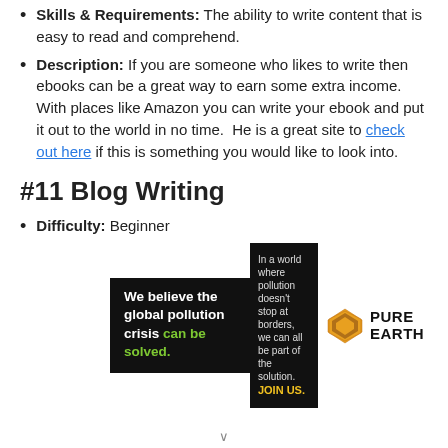Skills & Requirements: The ability to write content that is easy to read and comprehend.
Description: If you are someone who likes to write then ebooks can be a great way to earn some extra income.  With places like Amazon you can write your ebook and put it out to the world in no time.  He is a great site to check out here if this is something you would like to look into.
#11 Blog Writing
Difficulty: Beginner
[Figure (infographic): Pure Earth advertisement banner: black background with text 'We believe the global pollution crisis can be solved.' and 'In a world where pollution doesn't stop at borders, we can all be part of the solution. JOIN US.' with Pure Earth logo (diamond shape) on white background on the right.]